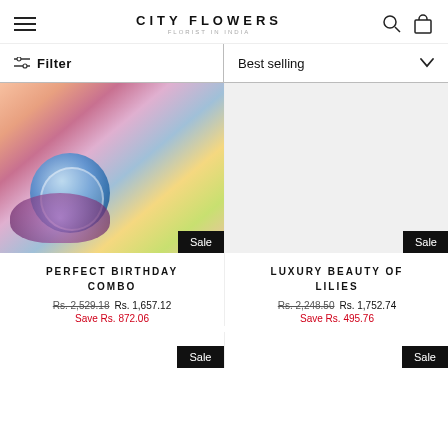CITY FLOWERS — Florist in India
Filter | Best selling
[Figure (photo): Product image of Perfect Birthday Combo — flower arrangement with pink roses, dark bow, and Happy Birthday balloon]
PERFECT BIRTHDAY COMBO
Rs. 2,529.18  Rs. 1,657.12
Save Rs. 872.06
[Figure (photo): Product image of Luxury Beauty of Lilies — partial white background visible]
LUXURY BEAUTY OF LILIES
Rs. 2,248.50  Rs. 1,752.74
Save Rs. 495.76